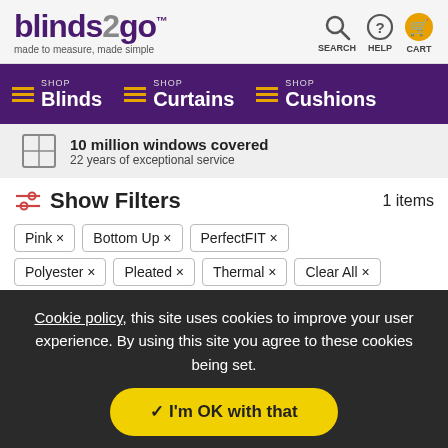[Figure (logo): blinds2go logo with tagline 'made to measure, made simple']
[Figure (infographic): Header icons for SEARCH, HELP, and CART (orange shopping cart)]
[Figure (infographic): Purple navigation bar with Blinds, Curtains, Cushions shop links with hamburger/menu icons]
[Figure (infographic): Trust bar: window icon with '10 million windows covered, 22 years of exceptional service']
Show Filters   1 items
Pink ×
Bottom Up ×
PerfectFIT ×
Polyester ×
Pleated ×
Thermal ×
Clear All ×
Cookie policy, this site uses cookies to improve your user experience. By using this site you agree to these cookies being set.
✓ I'm OK with that